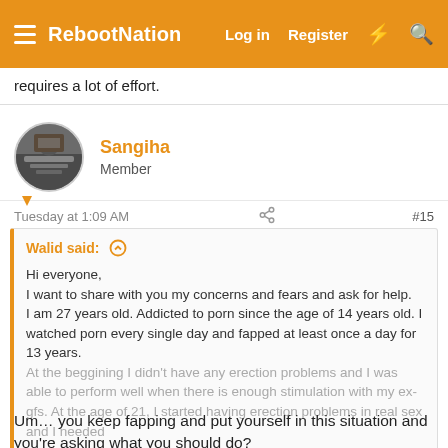RebootNation  Log in  Register
requires a lot of effort.
Sangiha
Member
Tuesday at 1:09 AM  #15
Walid said:
Hi everyone,
I want to share with you my concerns and fears and ask for help.
I am 27 years old. Addicted to porn since the age of 14 years old. I watched porn every single day and fapped at least once a day for 13 years.
At the beggining I didn't have any erection problems and I was able to perform well when there is enough stimulation with my ex-gfs. At the age of 21, I started having erection problems in real sex and I needed
Click to expand...
Um… you keep fapping and put yourself in this situation and you're asking what you should do?